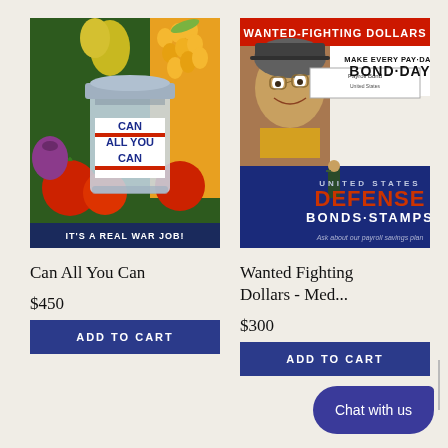[Figure (illustration): WWII propaganda poster: 'Can All You Can - It's a Real War Job!' showing a mason jar surrounded by vegetables]
[Figure (illustration): WWII propaganda poster: 'Wanted Fighting Dollars - Make Every Pay-Day Bond-Day - United States Defense Bonds Stamps']
Can All You Can
Wanted Fighting Dollars - Med...
$450
$300
ADD TO CART
ADD TO CART
Chat with us